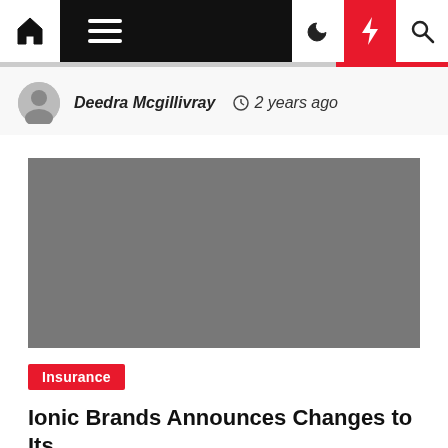Navigation bar with home, menu, moon, lightning, search icons
Deedra Mcgillivray  ⏱ 2 years ago
[Figure (photo): Gray image placeholder for article photo]
Insurance
Ionic Brands Announces Changes to Its